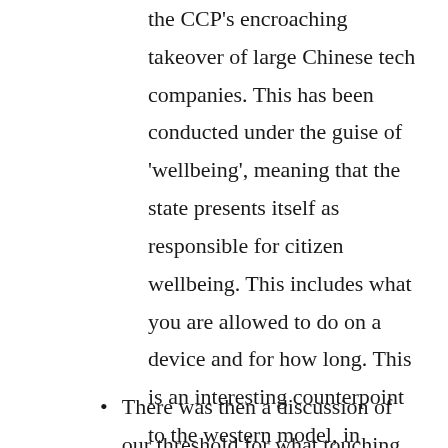the CCP's encroaching takeover of large Chinese tech companies. This has been conducted under the guise of 'wellbeing', meaning that the state presents itself as responsible for citizen wellbeing. This includes what you are allowed to do on a device and for how long. This is an interesting counterpoint to the western model, in which their platforms almost seem to outstrip the state, while here political power makes commercial interests align to the state. This is aided by the public news in China reporting on corruption within many big tech companies, effectively making it 'true', rather than a rumour.
There was then a discussion of our threshold for what touching behaviour should be in the first place